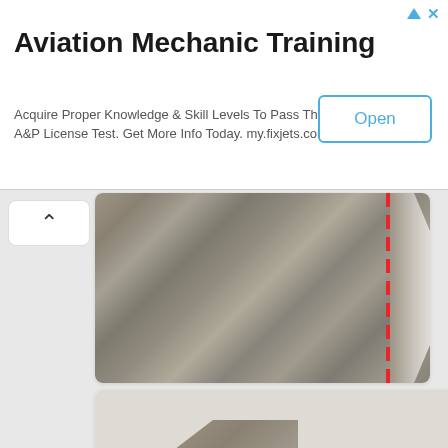[Figure (other): Advertisement banner for Aviation Mechanic Training with title, body text, and Open button]
Aviation Mechanic Training
Acquire Proper Knowledge & Skill Levels To Pass The A&P License Test. Get More Info Today. my.fixjets.com
[Figure (photo): Close-up photo of grey heathered fabric/textile with a red dashed vertical line marking on the right side, showing the edge of a garment piece]
[Figure (photo): Photo of a grey heathered knit fabric garment piece laid flat on white background, showing the shape of a sweater body/bodice with neckline cutout]